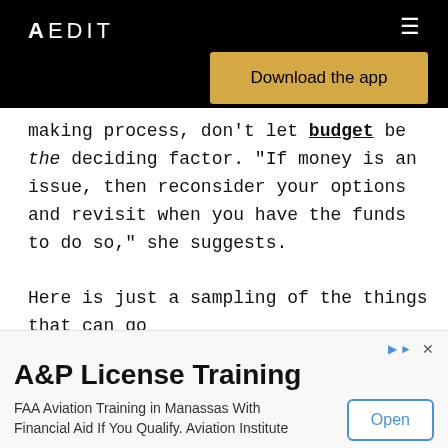AEDIT
[Figure (screenshot): Download the app button in gold/yellow on black header background]
making process, don't let budget be the deciding factor. "If money is an issue, then reconsider your options and revisit when you have the funds to do so," she suggests.
Here is just a sampling of the things that can go g when patients choose to crowdsource their
[Figure (screenshot): Advertisement: A&P License Training. FAA Aviation Training in Manassas With Financial Aid If You Qualify. Aviation Institute. Open button.]